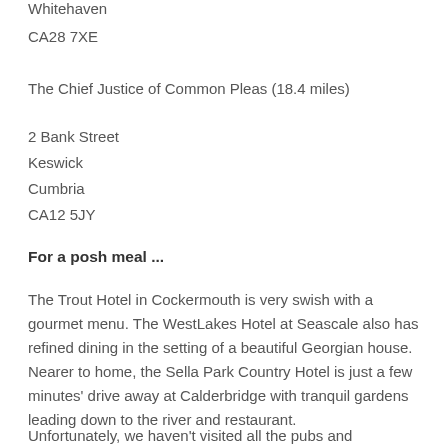Whitehaven
CA28 7XE
The Chief Justice of Common Pleas (18.4 miles)
2 Bank Street
Keswick
Cumbria
CA12 5JY
For a posh meal ...
The Trout Hotel in Cockermouth is very swish with a gourmet menu. The WestLakes Hotel at Seascale also has refined dining in the setting of a beautiful Georgian house. Nearer to home, the Sella Park Country Hotel is just a few minutes' drive away at Calderbridge with tranquil gardens leading down to the river and restaurant.
Unfortunately, we haven't visited all the pubs and restaurants